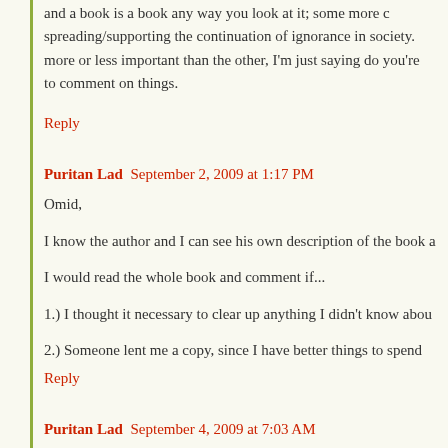and a book is a book any way you look at it; some more c spreading/supporting the continuation of ignorance in society. more or less important than the other, I'm just saying do you're to comment on things.
Reply
Puritan Lad  September 2, 2009 at 1:17 PM
Omid,
I know the author and I can see his own description of the book a
I would read the whole book and comment if...
1.) I thought it necessary to clear up anything I didn't know abou
2.) Someone lent me a copy, since I have better things to spend
Reply
Puritan Lad  September 4, 2009 at 7:03 AM
Omid,